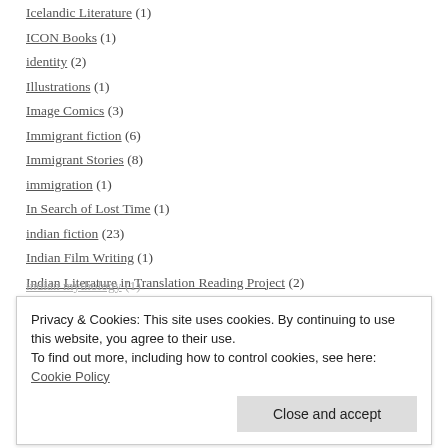Icelandic Literature (1)
ICON Books (1)
identity (2)
Illustrations (1)
Image Comics (3)
Immigrant fiction (6)
Immigrant Stories (8)
immigration (1)
In Search of Lost Time (1)
indian fiction (23)
Indian Film Writing (1)
Indian Literature in Translation Reading Project (2)
indian mythology (1)
Privacy & Cookies: This site uses cookies. By continuing to use this website, you agree to their use. To find out more, including how to control cookies, see here: Cookie Policy
indian writers (1)